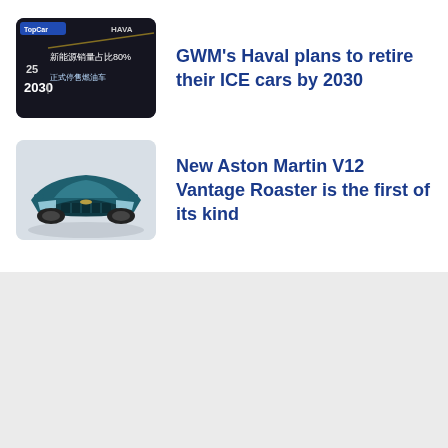[Figure (photo): Dark background slide showing Chinese text and '2030' with '80%' figures, Haval and TopCar logos visible]
GWM's Haval plans to retire their ICE cars by 2030
[Figure (photo): Teal/blue Aston Martin V12 Vantage Roadster photographed head-on against a grey studio background]
New Aston Martin V12 Vantage Roaster is the first of its kind